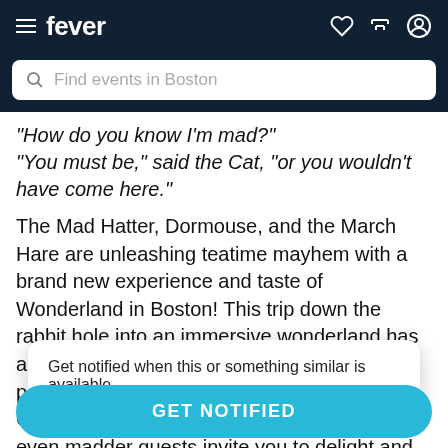fever
Find events in Boston
"How do you know I'm mad?"
"You must be," said the Cat, "or you wouldn't have come here."
The Mad Hatter, Dormouse, and the March Hare are unleashing teatime mayhem with a brand new experience and taste of Wonderland in Boston! This trip down the rabbit hole into an immersive wonderland has already won rave reviews for its p... C... even madder guests invite you to delight and
Get notified when this or something similar is available
GET NOTIFIED
minute cocktail menu. Indulge in crazy theatrical